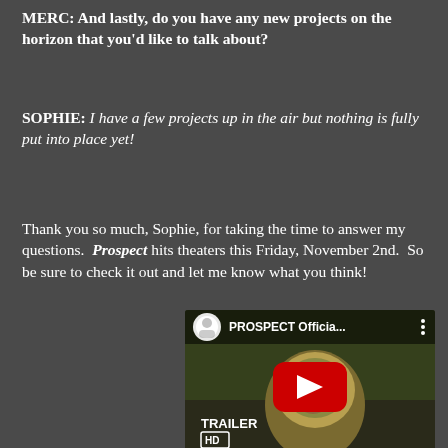MERC: And lastly, do you have any new projects on the horizon that you'd like to talk about?
SOPHIE: I have a few projects up in the air but nothing is fully put into place yet!
Thank you so much, Sophie, for taking the time to answer my questions. Prospect hits theaters this Friday, November 2nd. So be sure to check it out and let me know what you think!
[Figure (screenshot): YouTube video thumbnail for PROSPECT Official Trailer (HD) with a play button overlay]